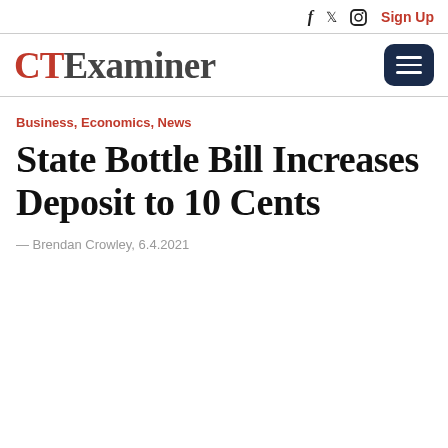f   Twitter  Instagram  Sign Up
CT Examiner
Business, Economics, News
State Bottle Bill Increases Deposit to 10 Cents
— Brendan Crowley, 6.4.2021